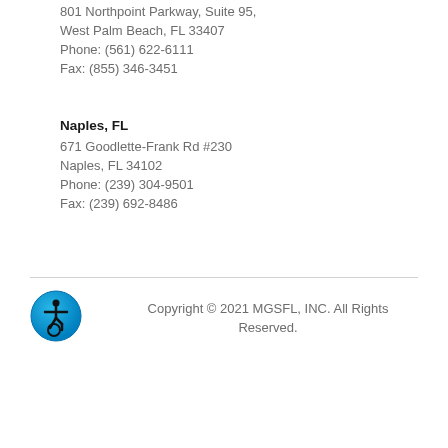801 Northpoint Parkway, Suite 95,
West Palm Beach, FL 33407
Phone: (561) 622-6111
Fax: (855) 346-3451
Naples, FL
671 Goodlette-Frank Rd #230
Naples, FL 34102
Phone: (239) 304-9501
Fax: (239) 692-8486
Copyright © 2021 MGSFL, INC. All Rights Reserved.